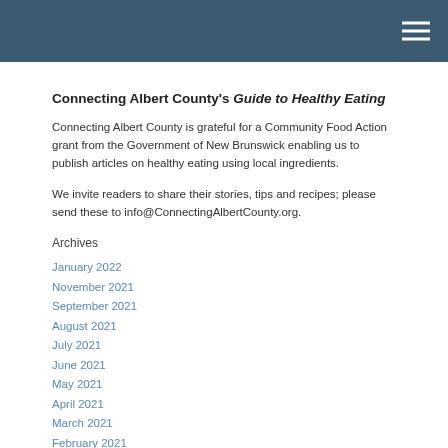Connecting Albert County's Guide to Healthy Eating
Connecting Albert County is grateful for a Community Food Action grant from the Government of New Brunswick enabling us to publish articles on healthy eating using local ingredients.
We invite readers to share their stories, tips and recipes; please send these to info@ConnectingAlbertCounty.org.
Archives
January 2022
November 2021
September 2021
August 2021
July 2021
June 2021
May 2021
April 2021
March 2021
February 2021
January 2021